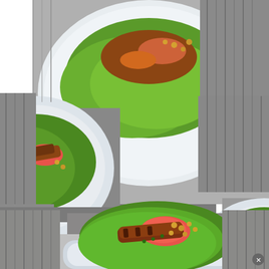[Figure (photo): Food photo collage showing multiple plates of lettuce wraps filled with grilled chicken or fish, grapefruit segments, peanuts, and greens, arranged on white square plates against a dark wood background. The collage contains 5 overlapping food photos arranged in a grid-like pattern.]